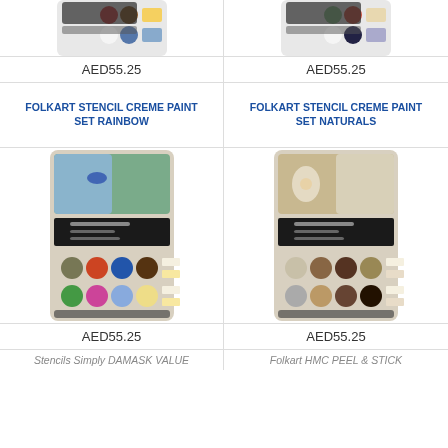[Figure (photo): Partial top of FolkArt Stencil Creme Paint Set Rainbow product package]
[Figure (photo): Partial top of FolkArt Stencil Creme Paint Set Naturals product package]
AED55.25
AED55.25
FOLKART STENCIL CREME PAINT SET RAINBOW
FOLKART STENCIL CREME PAINT SET NATURALS
[Figure (photo): FolkArt Stencil Creme Paint Set Rainbow product package showing colorful paint pots]
[Figure (photo): FolkArt Stencil Creme Paint Set Naturals product package showing earth-tone paint pots]
AED55.25
AED55.25
Stencils Simply DAMASK VALUE
Folkart HMC PEEL & STICK